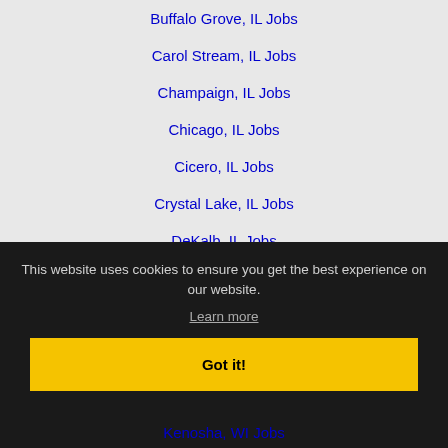Buffalo Grove, IL Jobs
Carol Stream, IL Jobs
Champaign, IL Jobs
Chicago, IL Jobs
Cicero, IL Jobs
Crystal Lake, IL Jobs
DeKalb, IL Jobs
Des Plaines, IL Jobs
Downers Grove, IL Jobs
Elgin, IL Jobs
This website uses cookies to ensure you get the best experience on our website.
Learn more
Got it!
Kenosha, WI Jobs